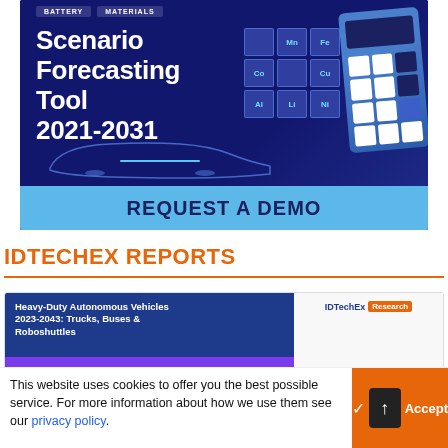[Figure (illustration): IDTechEx Scenario Forecasting Tool 2021-2031 promotional banner with dark navy background, chemical element tiles (Mn, Fe, Co, Cu, Al, Li, Ni), calculator illustration, car silhouette, and 'REQUEST A DEMO' call-to-action bar in light blue]
IDTECHEX REPORTS
[Figure (screenshot): IDTechEx Research report card showing 'Heavy-Duty Autonomous Vehicles 2023-2043: Trucks, Buses & Roboshuttles' with dark blue title bar, purple stripe, and IDTechEx Research logo on the right]
This website uses cookies to offer you the best possible service. For more information about how we use them see our privacy policy.